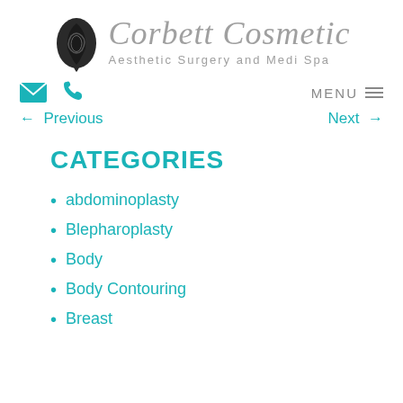[Figure (logo): Corbett Cosmetic Aesthetic Surgery and Medi Spa logo with stylized leaf/face icon and script text]
envelope icon | phone icon | MENU ☰
← Previous    Next →
CATEGORIES
abdominoplasty
Blepharoplasty
Body
Body Contouring
Breast